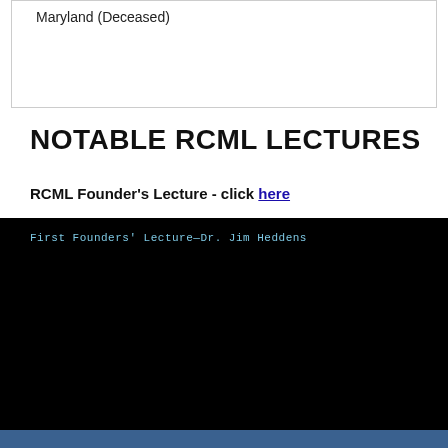| Maryland (Deceased) |
NOTABLE RCML LECTURES
RCML Founder's Lecture - click here
[Figure (photo): Screenshot of a video titled 'First Founders' Lecture—Dr. Jim Heddens' showing two embedded photos: an audience seated at round tables and a speaker at a Berry College podium.]